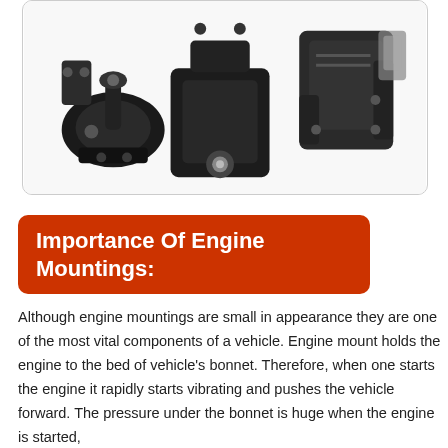[Figure (photo): Photo of engine mounting components — multiple black rubber and metal engine mounts arranged on white background inside a rounded-corner box.]
Importance Of Engine Mountings:
Although engine mountings are small in appearance they are one of the most vital components of a vehicle. Engine mount holds the engine to the bed of vehicle's bonnet. Therefore, when one starts the engine it rapidly starts vibrating and pushes the vehicle forward. The pressure under the bonnet is huge when the engine is started,